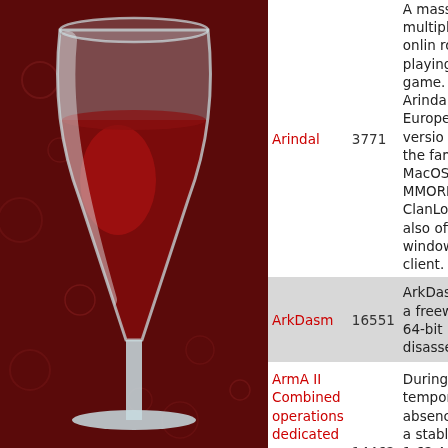[Figure (illustration): Wine application logo - a wine glass with red wine on a dark red background with decorative pattern]
| Name | ID | Description |
| --- | --- | --- |
| Arindal | 3771 | A massively multiplayer online role-playing game. Arindal, the European version of the famous MacOS MMORPG ClanLord, also offers a windows client. |
| ArkDasm | 16551 | ArkDasm is a freeware 64-bit PE disassembler |
| ArmA II Combined operations dedicated server | 14462 | During the temporary absence of a stable 1.62 ArmA II dedicated server for Linux, Wine can be |